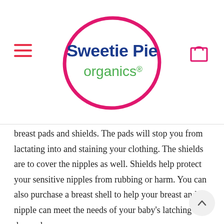[Figure (logo): Sweetie Pie Organics logo: blue 'Sweetie Pie' text with green 'organics®' below, enclosed in a hot-pink oval outline]
breast pads and shields. The pads will stop you from lactating into and staining your clothing. The shields are to cover the nipples as well. Shields help protect your sensitive nipples from rubbing or harm. You can also purchase a breast shell to help your breast and its nipple can meet the needs of your baby's latching demands.
There are other items you may want to purchase in preparation for birth and breastfeeding. You might feel it is necessary to get pillow supports or cushions to help you become comfortable while you feed your baby. Nipple may be a purchase if you believe you will need its help in